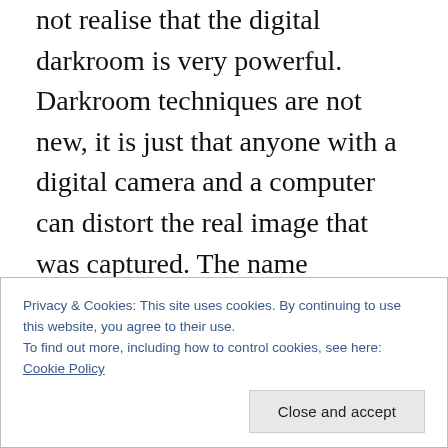not realise that the digital darkroom is very powerful. Darkroom techniques are not new, it is just that anyone with a digital camera and a computer can distort the real image that was captured. The name Photoshop is now used by non photographic people to describe all sorts of electronic trickery, and free less powerful clones of this amazing tool are available at the press of a button. What does that all mean to us in the photographic community? Well for me it means I have another tool in my arsenal, however getting the image right in camera will always be the goal. Having said all that, these manipulating tools are
Privacy & Cookies: This site uses cookies. By continuing to use this website, you agree to their use.
To find out more, including how to control cookies, see here: Cookie Policy